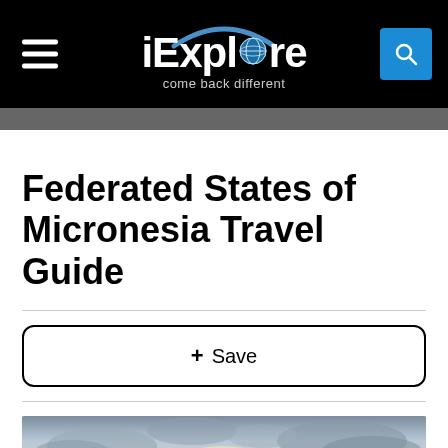iExplore — come back different
Federated States of Micronesia Travel Guide
+ Save
[Figure (photo): Partial view of a cloudy sky, likely over ocean or landscape, used as a hero image for the Federated States of Micronesia Travel Guide page.]